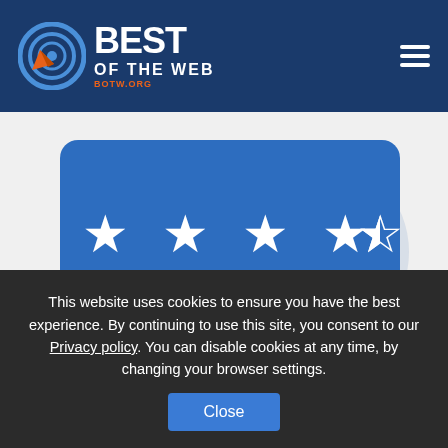[Figure (logo): Best of the Web (BOTW.ORG) logo with circular target icon and white text on dark blue header background, with hamburger menu icon on the right]
[Figure (illustration): Two blue speech bubble chat icons containing white star ratings — the left bubble shows 4.5 stars (4 filled, 1 half) and the right bubble shows 5 stars, on a light gray background with faint watermark logo]
This website uses cookies to ensure you have the best experience. By continuing to use this site, you consent to our Privacy policy. You can disable cookies at any time, by changing your browser settings.